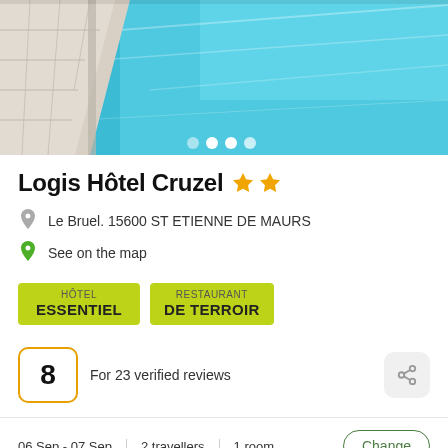[Figure (photo): Swimming pool with blue water and white tile surround, carousel dots overlay at bottom]
Logis Hôtel Cruzel ★★
Le Bruel. 15600 ST ETIENNE DE MAURS
See on the map
HÔTEL ESSENTIEL
RESTAURANT DE TERROIR
8  For 23 verified reviews
06 Sep - 07 Sep | 2 travellers | 1 room | Change
show the rates